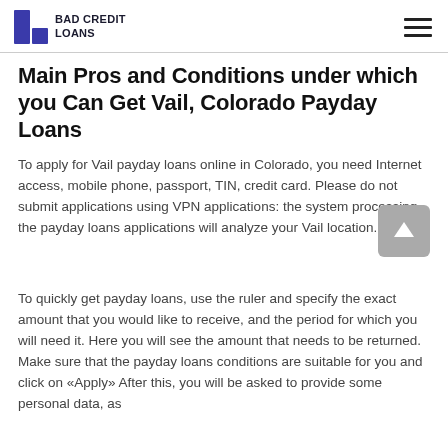BAD CREDIT LOANS
Main Pros and Conditions under which you Can Get Vail, Colorado Payday Loans
To apply for Vail payday loans online in Colorado, you need Internet access, mobile phone, passport, TIN, credit card. Please do not submit applications using VPN applications: the system processing the payday loans applications will analyze your Vail location.
To quickly get payday loans, use the ruler and specify the exact amount that you would like to receive, and the period for which you will need it. Here you will see the amount that needs to be returned. Make sure that the payday loans conditions are suitable for you and click on «Apply» After this, you will be asked to provide some personal data, as